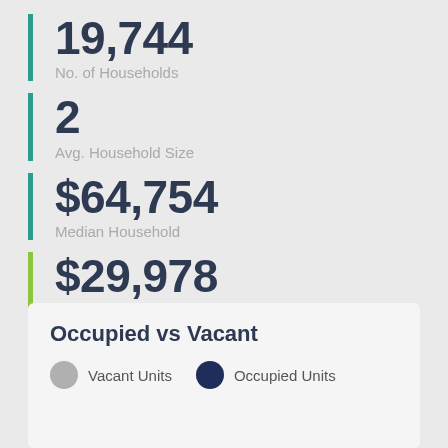19,744
No. of Households
2
Avg. Household Size
$64,754
Median Household
$29,978
Avg. Individual Income
Occupied vs Vacant
Vacant Units   Occupied Units